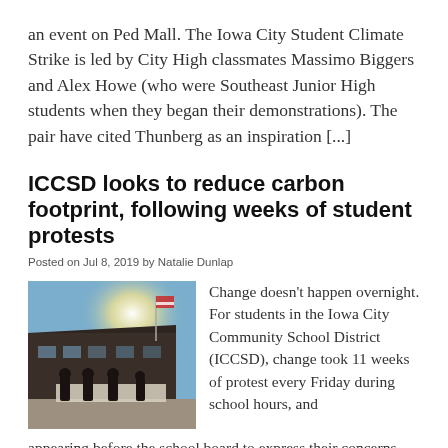an event on Ped Mall. The Iowa City Student Climate Strike is led by City High classmates Massimo Biggers and Alex Howe (who were Southeast Junior High students when they began their demonstrations). The pair have cited Thunberg as an inspiration [...]
ICCSD looks to reduce carbon footprint, following weeks of student protests
Posted on Jul 8, 2019 by Natalie Dunlap
[Figure (photo): Students standing in front of a school building holding a banner, with bright sunlight and a flag in the background.]
Change doesn't happen overnight. For students in the Iowa City Community School District (ICCSD), change took 11 weeks of protest every Friday during school hours, and appearing before the school board to express their concerns about climate change.